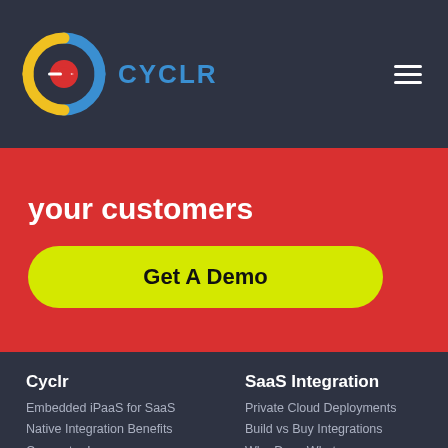[Figure (logo): Cyclr logo: circular arrow icon in blue, yellow, red colors with CYCLR text in blue]
your customers
Get A Demo
Cyclr
SaaS Integration
Embedded iPaaS for SaaS
Private Cloud Deployments
Native Integration Benefits
Build vs Buy Integrations
Connector Layer
Who Does What